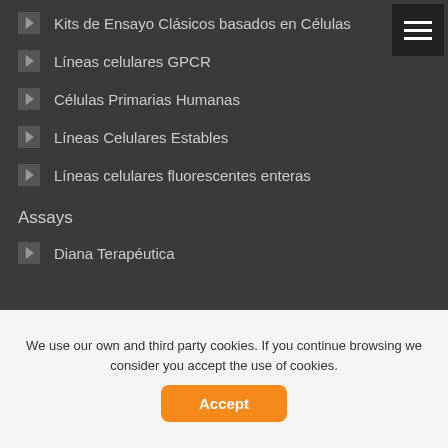Kits de Ensayo Clásicos basados en Células
Líneas celulares GPCR
Células Primarias Humanas
Líneas Celulares Estables
Líneas celulares fluorescentes enteras
Assays
Diana Terapéutica
We use our own and third party cookies. If you continue browsing we consider you accept the use of cookies.
Accept